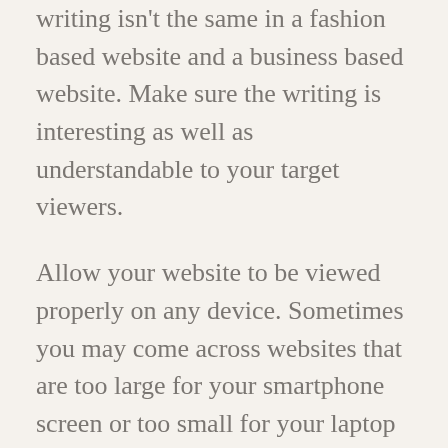writing isn't the same in a fashion based website and a business based website. Make sure the writing is interesting as well as understandable to your target viewers.
Allow your website to be viewed properly on any device. Sometimes you may come across websites that are too large for your smartphone screen or too small for your laptop screen. Make sure that your website loads all content perfectly well within the frames of any device which would be used to view it.
Place calls to action carefully. Ever been to a website which asks you to fill out a form but you have no idea why that is necessary? This is a